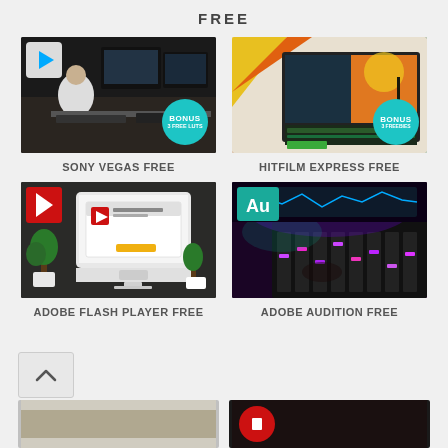FREE
[Figure (photo): Sony Vegas video editing software screenshot with person at editing desk, bonus badge showing 3 FREE LUTs]
SONY VEGAS FREE
[Figure (photo): HitFilm Express video editing software on monitor showing sunset scene, bonus badge showing 3 FREEBIES]
HITFILM EXPRESS FREE
[Figure (photo): Adobe Flash Player installer on Mac computer with plants in background]
ADOBE FLASH PLAYER FREE
[Figure (photo): Adobe Audition audio mixing software with mixing console in purple lighting]
ADOBE AUDITION FREE